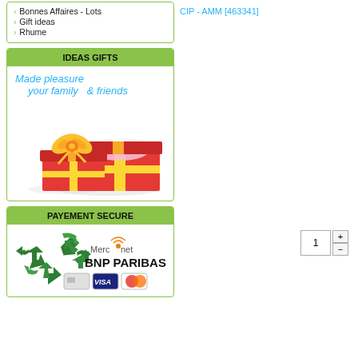Bonnes Affaires - Lots
Gift ideas
Rhume
CIP - AMM [463341]
IDEAS GIFTS
Made pleasure
your family  & friends
[Figure (illustration): Two red gift boxes with gold ribbons and tissue paper, on white background]
PAYEMENT SECURE
[Figure (logo): BNP Paribas Mercanet logo with green arrows and payment card icons (generic, Visa, Mastercard)]
1 (quantity input with + and - buttons)